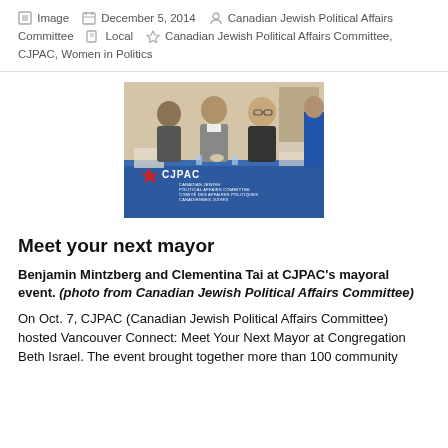Image  December 5, 2014  Canadian Jewish Political Affairs Committee  Local  Canadian Jewish Political Affairs Committee, CJPAC, Women in Politics
[Figure (photo): Photo of Benjamin Mintzberg and Clementina Tai seated at a table with a blue CJPAC (Canadian Jewish Political Affairs Committee) banner/tablecloth at a mayoral event.]
Meet your next mayor
Benjamin Mintzberg and Clementina Tai at CJPAC's mayoral event. (photo from Canadian Jewish Political Affairs Committee)
On Oct. 7, CJPAC (Canadian Jewish Political Affairs Committee) hosted Vancouver Connect: Meet Your Next Mayor at Congregation Beth Israel. The event brought together more than 100 community